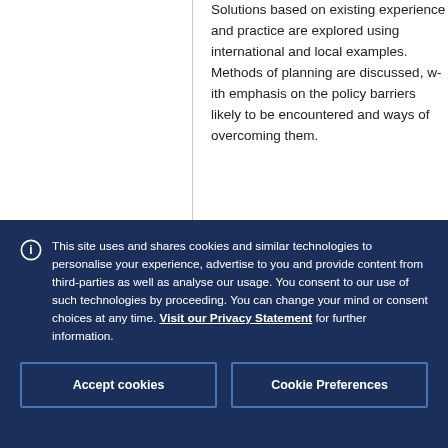Solutions based on existing experience and practice are explored using international and local examples. Methods of planning are discussed, with emphasis on the policy barriers likely to be encountered and ways of overcoming them.
This site uses and shares cookies and similar technologies to personalise your experience, advertise to you and provide content from third-parties as well as analyse our usage. You consent to our use of such technologies by proceeding. You can change your mind or consent choices at any time. Visit our Privacy Statement for further information.